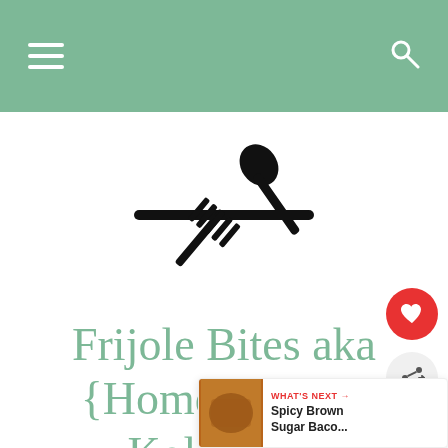Navigation bar with menu and search icons
[Figure (logo): Crossed fork, knife, and spoon utensils logo in black silhouette]
Frijole Bites aka {Homemade M... Kolaches}
[Figure (infographic): Heart favorite button (red circle with white heart icon)]
[Figure (infographic): Share button (light gray circle with share icon)]
[Figure (infographic): WHAT'S NEXT panel with food thumbnail and text: Spicy Brown Sugar Baco...]